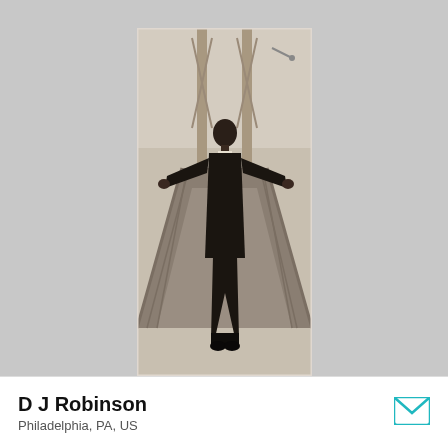[Figure (photo): Black and white / sepia-toned portrait photograph of a young man in a dark cardigan and trousers walking on a pedestrian bridge with outstretched arms, viewed from a slight low angle. Bridge railings and cables visible in background with urban skyline.]
D J Robinson
Philadelphia, PA, US